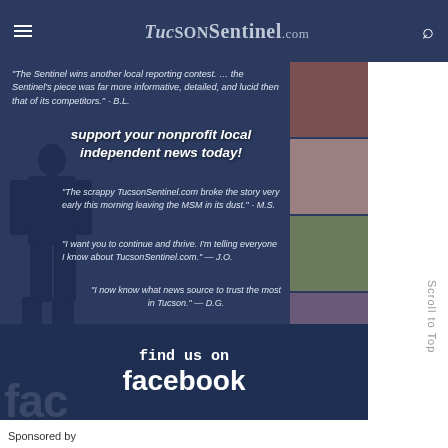TucsonSentinel.com
[Figure (infographic): TucsonSentinel.com promotional advertisement with quotes from readers, support message, Facebook CTA, and a silhouette figure on a dark blue background with photo strip on right side.]
Sponsored by